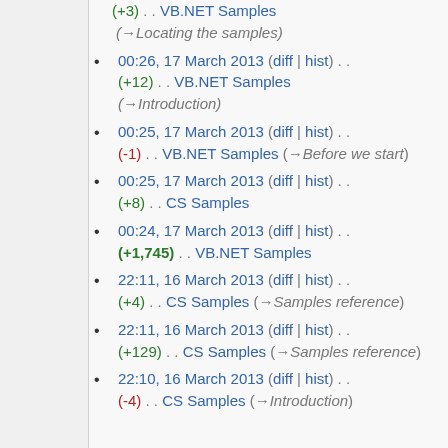(+3) . . VB.NET Samples (→Locating the samples)
00:26, 17 March 2013 (diff | hist) . . (+12) . . VB.NET Samples (→Introduction)
00:25, 17 March 2013 (diff | hist) . . (-1) . . VB.NET Samples (→Before we start)
00:25, 17 March 2013 (diff | hist) . . (+8) . . CS Samples
00:24, 17 March 2013 (diff | hist) . . (+1,745) . . VB.NET Samples
22:11, 16 March 2013 (diff | hist) . . (+4) . . CS Samples (→Samples reference)
22:11, 16 March 2013 (diff | hist) . . (+129) . . CS Samples (→Samples reference)
22:10, 16 March 2013 (diff | hist) . . (-4) . . CS Samples (→Introduction)